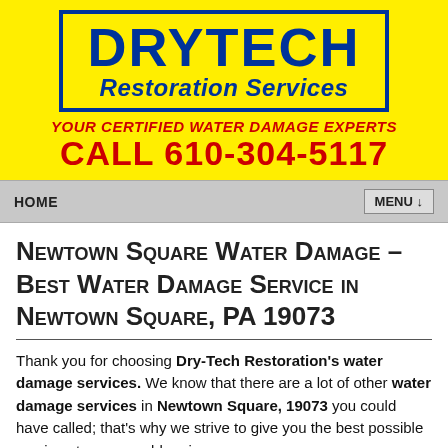[Figure (logo): Drytech Restoration Services logo on yellow background with blue border box, company name in blue, tagline and phone number in red]
HOME   MENU ↓
Newtown Square Water Damage – Best Water Damage Service in Newtown Square, PA 19073
Thank you for choosing Dry-Tech Restoration's water damage services. We know that there are a lot of other water damage services in Newtown Square, 19073 you could have called; that's why we strive to give you the best possible service at a reasonable price.